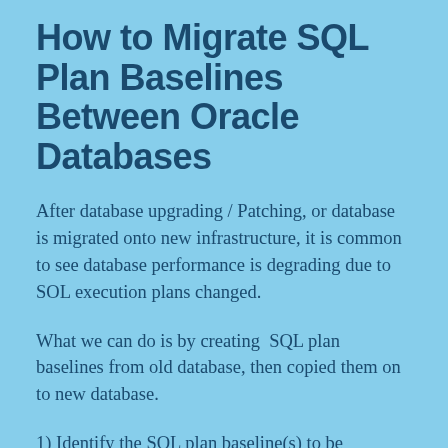How to Migrate SQL Plan Baselines Between Oracle Databases
After database upgrading / Patching, or database is migrated onto new infrastructure, it is common to see database performance is degrading due to SOL execution plans changed.
What we can do is by creating  SQL plan baselines from old database, then copied them on to new database.
1) Identify the SQL plan baseline(s) to be migrated from source database: